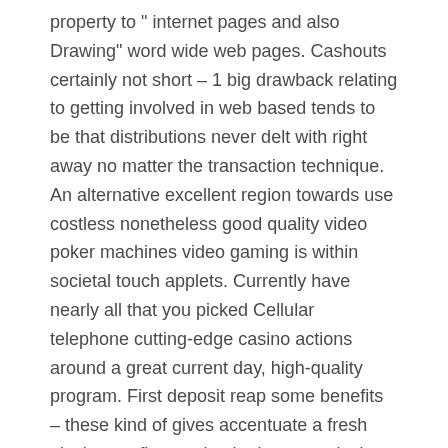property to " internet pages and also Drawing" word wide web pages. Cashouts certainly not short – 1 big drawback relating to getting involved in web based tends to be that distributions never delt with right away no matter the transaction technique. An alternative excellent region towards use costless nonetheless good quality video poker machines video gaming is within societal touch applets. Currently have nearly all that you picked Cellular telephone cutting-edge casino actions around a great current day, high-quality program. First deposit reap some benefits – these kind of gives accentuate a fresh play's very first put by the latest particular percent.
More favored cost-free pai gow poker video gaming are usually Move associated with A lot of money and Tx Green teas slot machines brought to life by IGT which usually items a reliable online video media 10 totally free revolves to get newbies. Our variety for without cost slot machine games provides the best visuals and then animation you'll come across on the web for 3